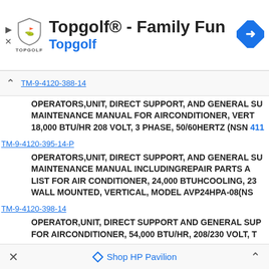[Figure (logo): Topgolf advertisement banner with shield logo, title 'Topgolf® - Family Fun', subtitle 'Topgolf' in blue, and a blue navigation arrow icon]
TM-9-4120-388-14
OPERATORS,UNIT, DIRECT SUPPORT, AND GENERAL SUPPORT MAINTENANCE MANUAL FOR AIRCONDITIONER, VERTICAL, 18,000 BTU/HR 208 VOLT, 3 PHASE, 50/60HERTZ (NSN 4120-...
TM-9-4120-395-14-P
OPERATORS,UNIT, DIRECT SUPPORT, AND GENERAL SUPPORT MAINTENANCE MANUAL INCLUDINGREPAIR PARTS AND SPECIAL TOOLS LIST FOR AIR CONDITIONER, 24,000 BTUHCOOLING, 230 VOLT, WALL MOUNTED, VERTICAL, MODEL AVP24HPA-08(NSN...
TM-9-4120-398-14
OPERATOR,UNIT, DIRECT SUPPORT AND GENERAL SUPPORT MAINTENANCE FOR AIRCONDITIONER, 54,000 BTU/HR, 208/230 VOLT, T...